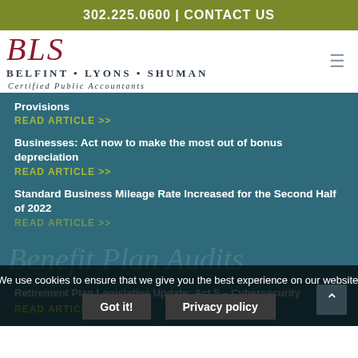302.225.0600 | CONTACT US
[Figure (logo): BLS - Belfint Lyons Shuman Certified Public Accountants logo]
Provisions
READ ARTICLE >>
Businesses: Act now to make the most out of bonus depreciation
READ ARTICLE >>
Standard Business Mileage Rate Increased for the Second Half of 2022
READ ARTICLE >>
Benefit Plan Audits
Retirement Plan Legislative Update: Act 5 – Cybersecurity
READ ARTICLE >>
We use cookies to ensure that we give you the best experience on our website.
Got it!
Privacy policy